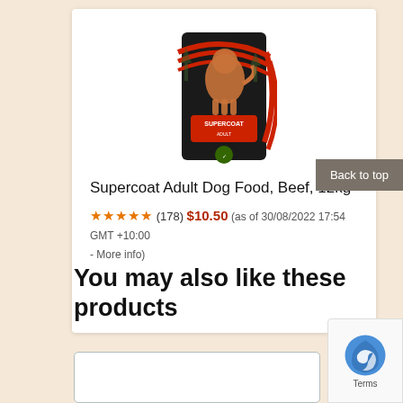[Figure (photo): Product image of Supercoat Adult Dog Food 12kg bag with red swirl design and golden retriever dog]
Supercoat Adult Dog Food, Beef, 12kg
★★★★★ (178) $10.50 (as of 30/08/2022 17:54 GMT +10:00 - More info)
Back to top
You may also like these products
Terms